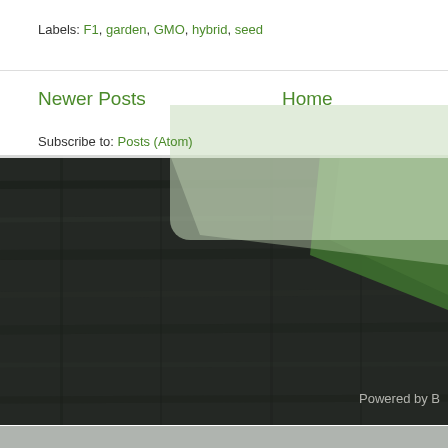Labels: F1, garden, GMO, hybrid, seed
Newer Posts
Home
Subscribe to: Posts (Atom)
[Figure (photo): Dark wood plank background with a green book or object visible in the upper right corner]
Powered by B